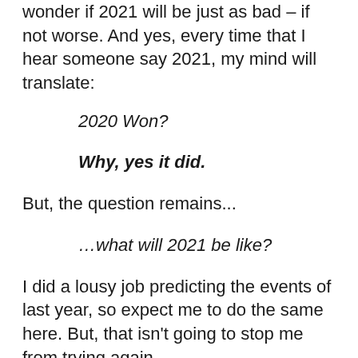wonder if 2021 will be just as bad – if not worse. And yes, every time that I hear someone say 2021, my mind will translate:
2020 Won?
Why, yes it did.
But, the question remains...
…what will 2021 be like?
I did a lousy job predicting the events of last year, so expect me to do the same here. But, that isn't going to stop me from trying again.
Just remember that next year will be 2020 too!